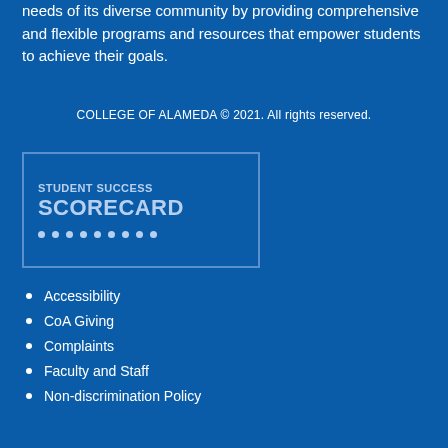The mission of College of Alameda is to serve the educational needs of its diverse community by providing comprehensive and flexible programs and resources that empower students to achieve their goals.
COLLEGE OF ALAMEDA © 2021. All rights reserved.
[Figure (logo): Student Success Scorecard logo box with text 'STUDENT SUCCESS SCORECARD' and a row of decorative dots, outlined in a blue border on a dark blue background.]
Accessibility
CoA Giving
Complaints
Faculty and Staff
Non-discrimination Policy